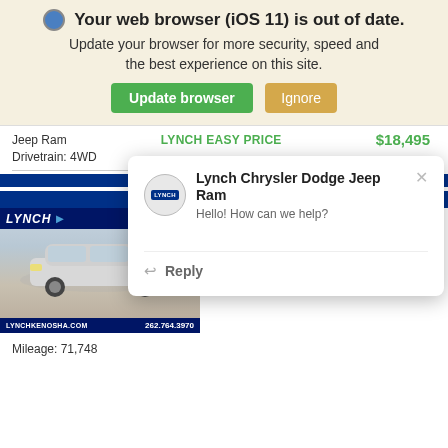🌐 Your web browser (iOS 11) is out of date. Update your browser for more security, speed and the best experience on this site.
Jeep Ram | LYNCH EASY PRICE | $18,495
Drivetrain: 4WD
[Figure (screenshot): Chat popup from Lynch Chrysler Dodge Jeep Ram showing logo, greeting 'Hello! How can we help?' and Reply button]
Lynch Chrysler Dodge Jeep Ram
Hello! How can we help?
Reply
[Figure (photo): White Dodge vehicle at Lynch dealership with LYNCH logo, LYNCHKENOSHA.COM, 262.764.3970, Certified Used badge]
Stock: KB2544
CERTIFIED USED | AutoCheck A part of Experian
Mileage: 71,748